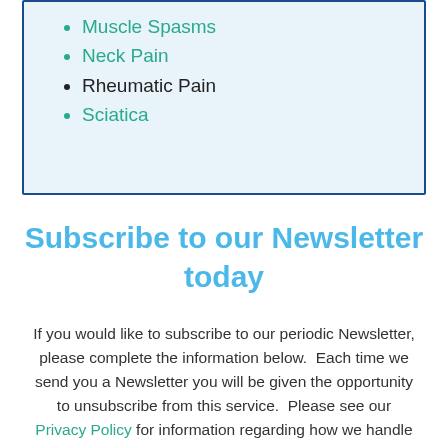Muscle Spasms
Neck Pain
Rheumatic Pain
Sciatica
Subscribe to our Newsletter today
If you would like to subscribe to our periodic Newsletter, please complete the information below.  Each time we send you a Newsletter you will be given the opportunity to unsubscribe from this service.  Please see our Privacy Policy for information regarding how we handle your personal data.